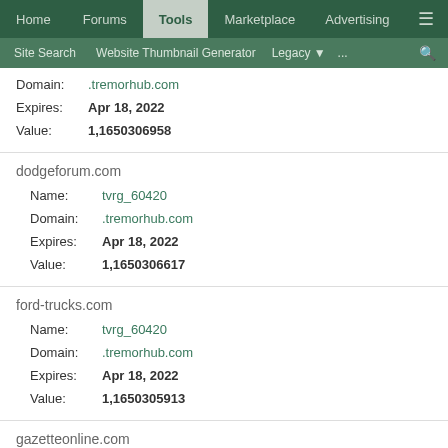Home | Forums | Tools | Marketplace | Advertising | ≡
Site Search | Website Thumbnail Generator | Legacy | ... | 🔍
Domain: .tremorhub.com
Expires: Apr 18, 2022
Value: 1,1650306958
dodgeforum.com
Name: tvrg_60420
Domain: .tremorhub.com
Expires: Apr 18, 2022
Value: 1,1650306617
ford-trucks.com
Name: tvrg_60420
Domain: .tremorhub.com
Expires: Apr 18, 2022
Value: 1,1650305913
gazetteonline.com
Name: tvrg_60420
Domain: .tremorhub.com
Expires: Apr 14, 2022
Value: 1,1649972552
gw2db.com